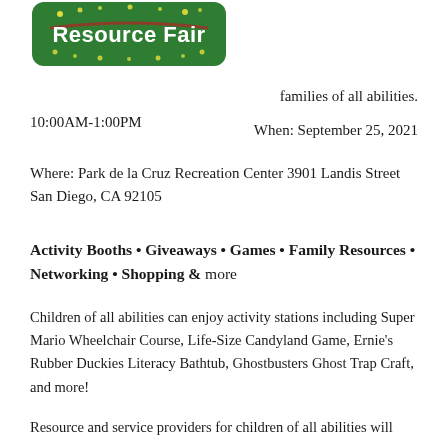[Figure (logo): Resource Fair logo — green rounded rectangle with white text 'Resource Fair' and decorative dots/swirls]
families of all abilities.
When: September 25, 2021 10:00AM-1:00PM
Where: Park de la Cruz Recreation Center 3901 Landis Street San Diego, CA 92105
Activity Booths • Giveaways • Games • Family Resources • Networking • Shopping & more
Children of all abilities can enjoy activity stations including Super Mario Wheelchair Course, Life-Size Candyland Game, Ernie's Rubber Duckies Literacy Bathtub, Ghostbusters Ghost Trap Craft, and more!
Resource and service providers for children of all abilities will